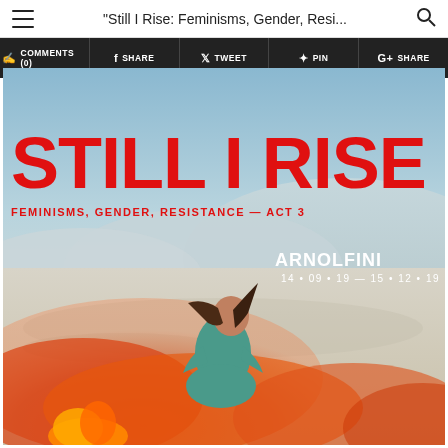"Still I Rise: Feminisms, Gender, Resi..."
[Figure (screenshot): Social sharing toolbar with buttons: COMMENTS (0), SHARE (Facebook), TWEET (Twitter), PIN (Pinterest), SHARE (Google+)]
[Figure (photo): Exhibition poster for 'Still I Rise: Feminisms, Gender, Resistance – Act 3' at Arnolfini, 14.09.19 – 15.12.19. Large red block letters 'STILL I RISE' over a desert landscape with a woman painted teal/green crouching amid red/orange smoke.]